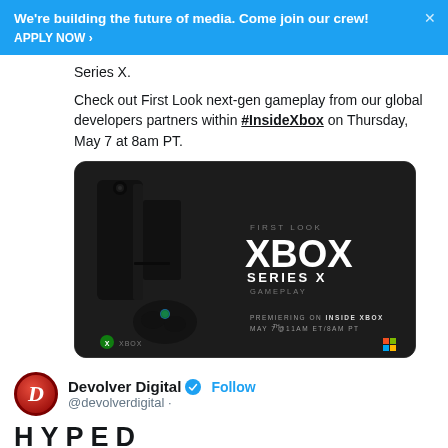We’re building the future of media. Come join our crew! APPLY NOW ›
Series X.
Check out First Look next-gen gameplay from our global developers partners within #InsideXbox on Thursday, May 7 at 8am PT.
[Figure (screenshot): Xbox Series X First Look promotional image on dark background showing Xbox Series X console and controller with text: FIRST LOOK XBOX SERIES X GAMEPLAY, PREMIERING ON INSIDE XBOX, MAY 7TH @11AM ET/8AM PT, Xbox logo bottom left, Microsoft logo bottom right]
Devolver Digital @devolverdigital · Follow
HYPED